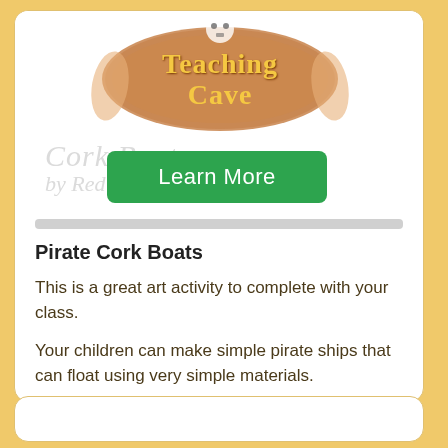[Figure (logo): Teaching Cave logo with pirate skull and brown/red textured background, with 'Cork Boats by Red...' text partially visible behind a green Learn More button]
Pirate Cork Boats
This is a great art activity to complete with your class.
Your children can make simple pirate ships that can float using very simple materials.